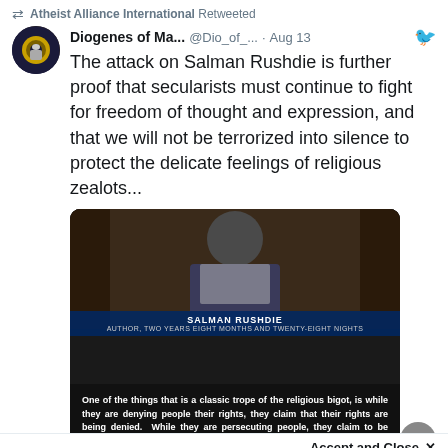Atheist Alliance International Retweeted
Diogenes of Ma... @Dio_of_... · Aug 13
The attack on Salman Rushdie is further proof that secularists must continue to fight for freedom of thought and expression, and that we will not be terrorized into silence to protect the delicate feelings of religious zealots...
[Figure (screenshot): Embedded image showing Salman Rushdie on Real Time with Bill Maher with a quote overlay: 'One of the things that is a classic trope of the religious bigot, is while they are denying people their rights, they claim that their rights are being denied. While they are persecuting people, they claim to be persecuted. While they are behaving colosally offensively, they claim to be the offended party. It's an upside down world.' Attribution: Salman Rushdie, Real Time with Bill Maher – September 11, 2015. Watermark: DIOGENES OF MAYBERRY]
4  64
Accept and Close ×
Your browser settings do not allow cross-site tracking for advertising. Click on this page to allow AdRoll to use cross-site tracking to tailor ads to you. Learn more or opt out of this AdRoll tracking by clicking here. This message only appears once.